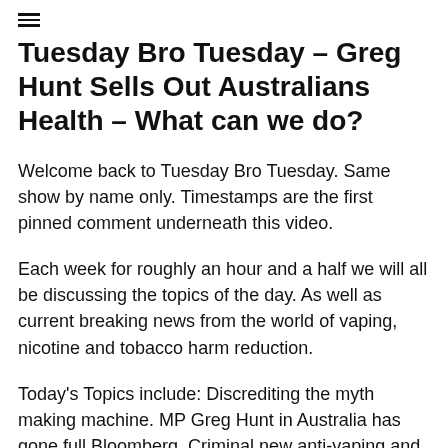Tuesday Bro Tuesday – Greg Hunt Sells Out Australians Health – What can we do?
Welcome back to Tuesday Bro Tuesday. Same show by name only. Timestamps are the first pinned comment underneath this video.
Each week for roughly an hour and a half we will all be discussing the topics of the day. As well as current breaking news from the world of vaping, nicotine and tobacco harm reduction.
Today's Topics include: Discrediting the myth making machine. MP Greg Hunt in Australia has gone full Bloomberg. Criminal new anti-vaping and nicotine laws threaten to destroy the vape industry and send tens of thousands of people back to deadly